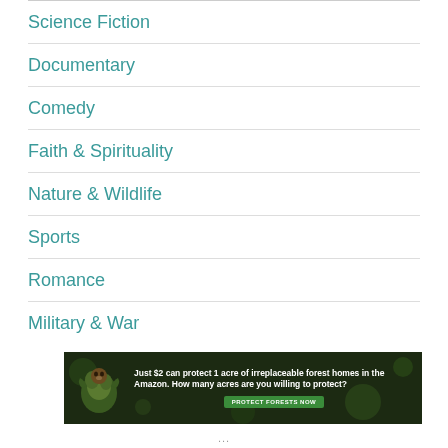Science Fiction
Documentary
Comedy
Faith & Spirituality
Nature & Wildlife
Sports
Romance
Military & War
[Figure (infographic): Advertisement banner: dark green forest background with animal image on left, text reading 'Just $2 can protect 1 acre of irreplaceable forest homes in the Amazon. How many acres are you willing to protect?' with a green 'PROTECT FORESTS NOW' button]
...